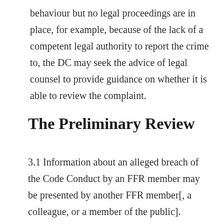behaviour but no legal proceedings are in place, for example, because of the lack of a competent legal authority to report the crime to, the DC may seek the advice of legal counsel to provide guidance on whether it is able to review the complaint.
The Preliminary Review
3.1 Information about an alleged breach of the Code Conduct by an FFR member may be presented by another FFR member[, a colleague, or a member of the public].